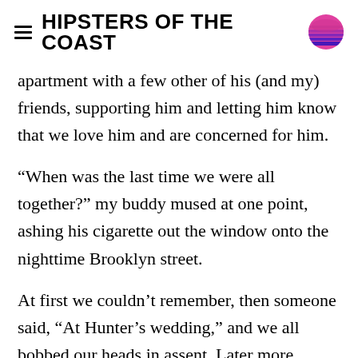HIPSTERS OF THE COAST
apartment with a few other of his (and my) friends, supporting him and letting him know that we love him and are concerned for him.
“When was the last time we were all together?” my buddy mused at one point, ashing his cigarette out the window onto the nighttime Brooklyn street.
At first we couldn’t remember, then someone said, “At Hunter’s wedding,” and we all bobbed our heads in assent. Later more things